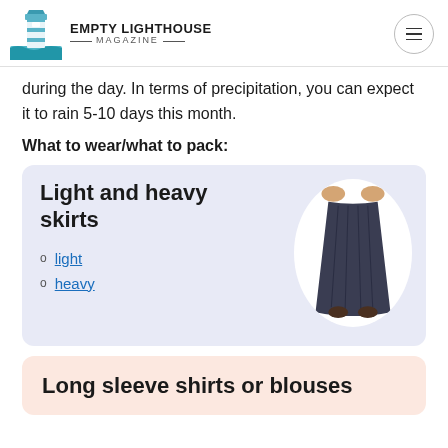EMPTY LIGHTHOUSE MAGAZINE
during the day. In terms of precipitation, you can expect it to rain 5-10 days this month.
What to wear/what to pack:
[Figure (illustration): Card with light blue background showing 'Light and heavy skirts' title, bullet links for 'light' and 'heavy', and an oval-framed photo of a long dark skirt]
light
heavy
Long sleeve shirts or blouses